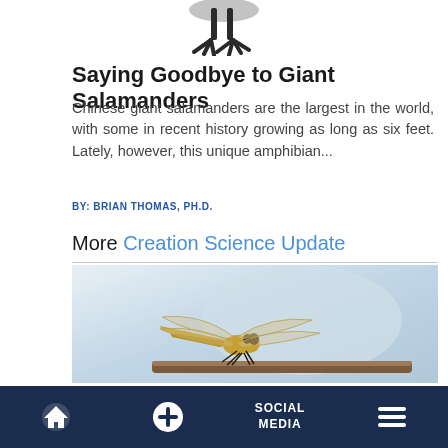[Figure (photo): Partial view of a bird's feet/claws at the top of the page]
Saying Goodbye to Giant Salamanders
Chinese giant salamanders are the largest in the world, with some in recent history growing as long as six feet. Lately, however, this unique amphibian...
BY: BRIAN THOMAS, PH.D.
More Creation Science Update
[Figure (photo): Photo of a golden/yellow dragonfly perched on a twig against a light blue background]
Home | + | SOCIAL MEDIA | Menu